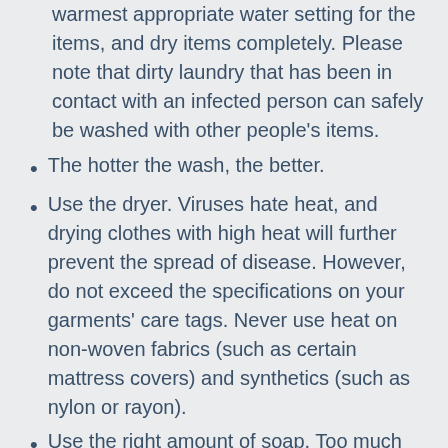warmest appropriate water setting for the items, and dry items completely. Please note that dirty laundry that has been in contact with an infected person can safely be washed with other people's items.
The hotter the wash, the better.
Use the dryer. Viruses hate heat, and drying clothes with high heat will further prevent the spread of disease. However, do not exceed the specifications on your garments' care tags. Never use heat on non-woven fabrics (such as certain mattress covers) and synthetics (such as nylon or rayon).
Use the right amount of soap. Too much soap creates excess suds that enable dirt and grime to remain trapped inside the fabric. The right amount of soap will